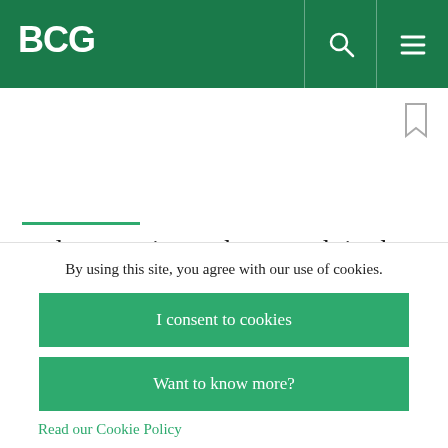BCG
and competitors; the growth in the number of relevant stakeholders and business partners; the multiplication of categories of specialized knowledge and expertise; the faster pace of innovation and change; the higher levels of
By using this site, you agree with our use of cookies.
I consent to cookies
Want to know more?
Read our Cookie Policy